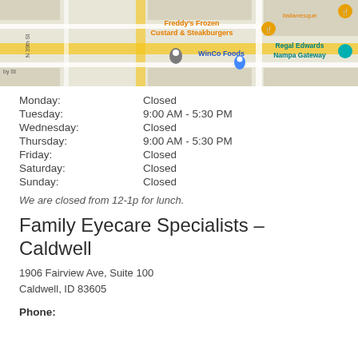[Figure (map): Google Maps screenshot showing area around N 39th St in Nampa/Boise area. Shows Freddy's Frozen Custard & Steakburgers, Italianesque restaurant, Regal Edwards Nampa Gateway theater, and WinCo Foods.]
Monday: Closed
Tuesday: 9:00 AM - 5:30 PM
Wednesday: Closed
Thursday: 9:00 AM - 5:30 PM
Friday: Closed
Saturday: Closed
Sunday: Closed
We are closed from 12-1p for lunch.
Family Eyecare Specialists – Caldwell
1906 Fairview Ave, Suite 100
Caldwell, ID 83605
Phone: